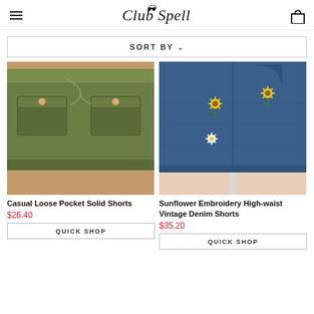Club Spell
SORT BY
[Figure (photo): Olive green cargo shorts with large front pockets and drawstring waist, worn by a model]
Casual Loose Pocket Solid Shorts
$26.40
QUICK SHOP
[Figure (photo): Dark blue denim high-waist shorts with sunflower embroidery pattern]
Sunflower Embroidery High-waist Vintage Denim Shorts
$35.20
QUICK SHOP